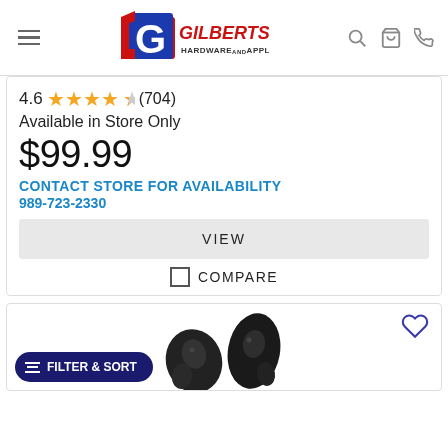Gilberts Hardware and Appliance
4.6 ★★★★☆ (704)
Available in Store Only
$99.99
CONTACT STORE FOR AVAILABILITY
989-723-2330
VIEW
COMPARE
[Figure (photo): Black wireless earbuds (TWS) shown from front angle on white background]